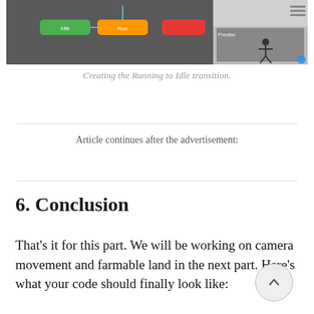[Figure (screenshot): Screenshot of a game animation state machine editor showing green 'Idle', orange 'Run', and red node states connected by arrows, alongside a preview panel showing a 3D character figure.]
Creating the Running to Idle transition.
Article continues after the advertisement:
6. Conclusion
That's it for this part. We will be working on camera movement and farmable land in the next part. Here's what your code should finally look like: